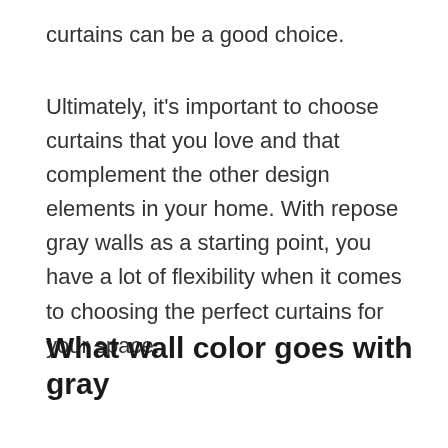curtains can be a good choice.
Ultimately, it's important to choose curtains that you love and that complement the other design elements in your home. With repose gray walls as a starting point, you have a lot of flexibility when it comes to choosing the perfect curtains for your space.
What wall color goes with gray